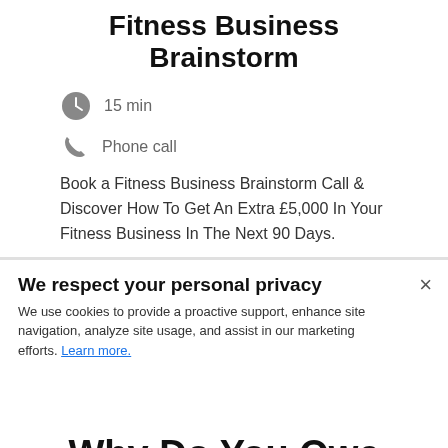Fitness Business Brainstorm
15 min
Phone call
Book a Fitness Business Brainstorm Call & Discover How To Get An Extra £5,000 In Your Fitness Business In The Next 90 Days.
We respect your personal privacy
We use cookies to provide a proactive support, enhance site navigation, analyze site usage, and assist in our marketing efforts. Learn more.
Why Do You Owe Wha...